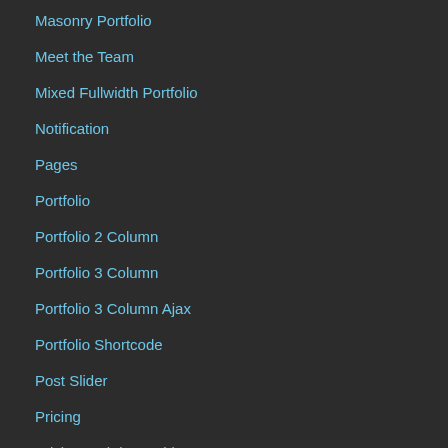Masonry Portfolio
Meet the Team
Mixed Fullwidth Portfolio
Notification
Pages
Portfolio
Portfolio 2 Column
Portfolio 3 Column
Portfolio 3 Column Ajax
Portfolio Shortcode
Post Slider
Pricing
Pricing and data Tables
Progress Bars
Promo Box
Sample Page
Services